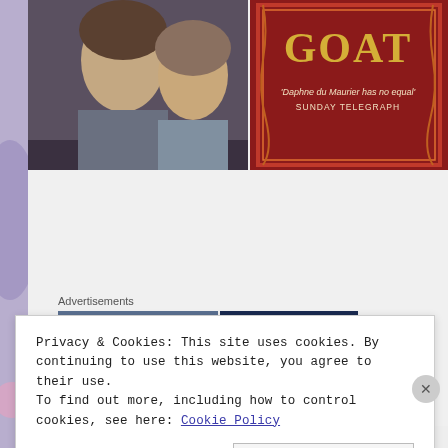[Figure (photo): Top image strip showing two people (movie still on left) and a book cover with 'GOAT' text and 'Daphne du Maurier has no equal - SUNDAY TELEGRAPH' on red background (right)]
Advertisements
[Figure (photo): Partial advertisement image showing a dark/blue scene, partially obscured by cookie banner]
Privacy & Cookies: This site uses cookies. By continuing to use this website, you agree to their use.
To find out more, including how to control cookies, see here: Cookie Policy
Close and accept